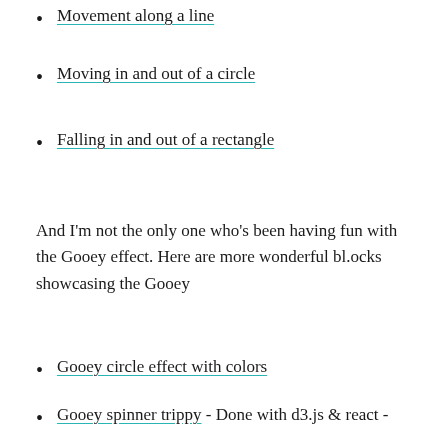Movement along a line
Moving in and out of a circle
Falling in and out of a rectangle
And I'm not the only one who's been having fun with the Gooey effect. Here are more wonderful bl.ocks showcasing the Gooey
Gooey circle effect with colors
Gooey spinner trippy - Done with d3.js & react - especially fun once the spinners move out of sync
Gooey Phyllotaxis Dance